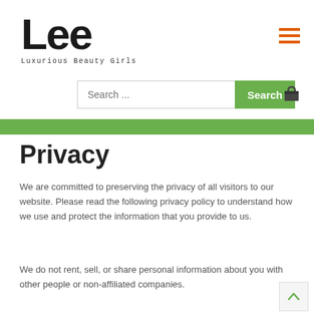[Figure (logo): Lee Luxurious Beauty Girls logo - large bold black text 'Lee' with tagline 'Luxurious Beauty Girls' below]
[Figure (other): Orange hamburger menu icon (three horizontal lines) in top right corner]
[Figure (other): Search bar with placeholder 'Search ...' and green Search button, plus cart icon]
Privacy
We are committed to preserving the privacy of all visitors to our website. Please read the following privacy policy to understand how we use and protect the information that you provide to us.
We do not rent, sell, or share personal information about you with other people or non-affiliated companies.